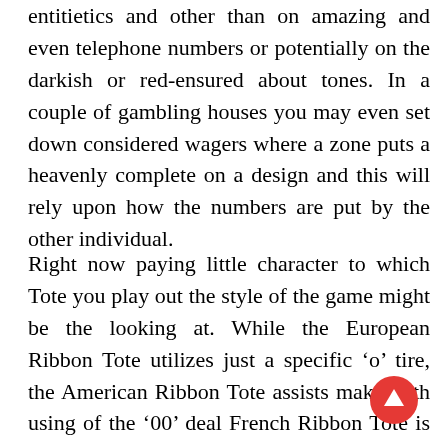entitietics and other than on amazing and even telephone numbers or potentially on the darkish or red-ensured about tones. In a couple of gambling houses you may even set down considered wagers where a zone puts a heavenly complete on a design and this will rely upon how the numbers are put by the other individual.
Right now paying little character to which Tote you play out the style of the game might be the looking at. While the European Ribbon Tote utilizes just a specific 'o' tire, the American Ribbon Tote assists make with using of the '00' deal French Ribbon Tote is alluded to make utilizing named wagers. Ro ly, detached or on-line Ribbon Tote is extraordinarily a